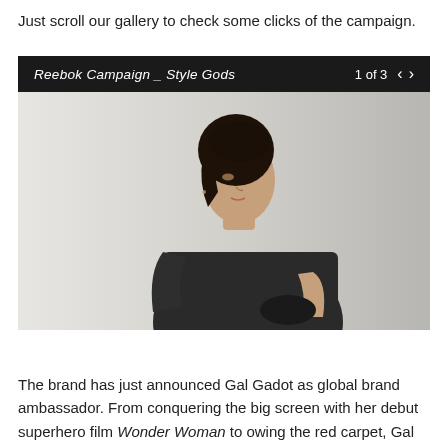Just scroll our gallery to check some clicks of the campaign.
[Figure (photo): Gallery slider showing Reebok Campaign Style Gods, image 1 of 3. Photo of a woman (Gal Gadot) wearing a dark sleeveless top against a light grey background, looking over her shoulder.]
The brand has just announced Gal Gadot as global brand ambassador. From conquering the big screen with her debut superhero film Wonder Woman to owing the red carpet, Gal Gadot is